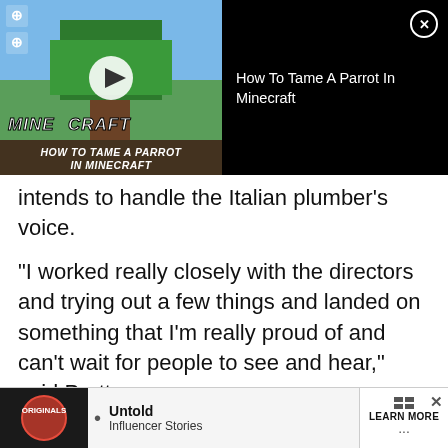[Figure (screenshot): Video overlay banner showing Minecraft video thumbnail on left with play button and 'HOW TO TAME A PARROT IN MINECRAFT' text, and on right a black panel with title 'How To Tame A Parrot In Minecraft' and a close (X) button.]
intends to handle the Italian plumber’s voice.
“I worked really closely with the directors and trying out a few things and landed on something that I’m really proud of and can’t wait for people to see and hear,” said Pratt.
Read More: Twitter prophet predicted Chris Pratt’s Mario movie casting, leaving fans floored
Pratt closes his comments on the Super Mario movie saying Mario’s voice is “updated and unlike anything you’ve
[Figure (screenshot): Bottom advertisement banner with Originals logo, bullet point, 'Untold Influencer Stories' text, and 'LEARN MORE' button. Has an X close button.]